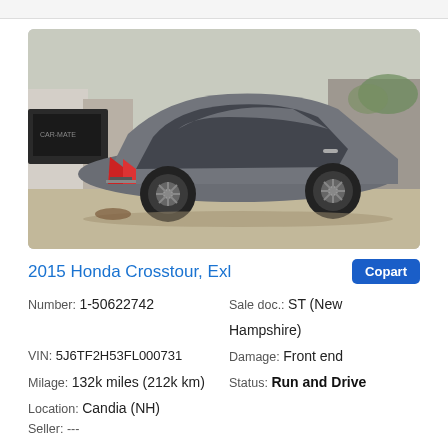[Figure (photo): Rear three-quarter view of a grey 2015 Honda Crosstour EXL in a yard/lot setting, with trailers and buildings visible in the background]
2015 Honda Crosstour, Exl
Number: 1-50622742
Sale doc.: ST (New Hampshire)
VIN: 5J6TF2H53FL000731
Damage: Front end
Milage: 132k miles (212k km)
Status: Run and Drive
Location: Candia (NH)
Seller: ---